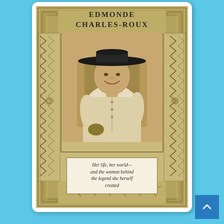[Figure (illustration): Book cover of a biography by Edmonde Charles-Roux. The cover features an Art Deco decorative border with geometric and floral patterns in olive/gold tones. In the center is a sepia-toned photograph of a woman (Coco Chanel) wearing a wide-brimmed black hat and a light-colored tweed jacket, sitting and smiling. At the top is the author name 'EDMONDE CHARLES-ROUX' and at the bottom a tagline box reading 'Her life, her world—and the woman behind the legend she herself created'.]